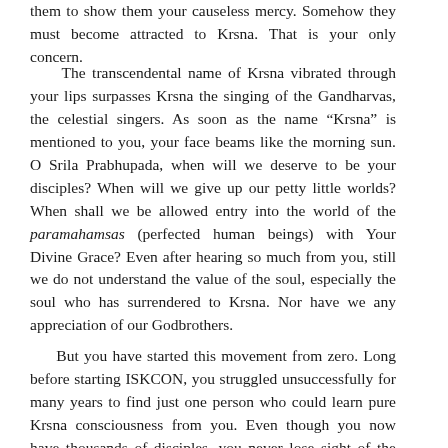them to show them your causeless mercy. Somehow they must become attracted to Krsna. That is your only concern.
The transcendental name of Krsna vibrated through your lips surpasses Krsna the singing of the Gandharvas, the celestial singers. As soon as the name "Krsna" is mentioned to you, your face beams like the morning sun. O Srila Prabhupada, when will we deserve to be your disciples? When will we give up our petty little worlds? When shall we be allowed entry into the world of the paramahamsas (perfected human beings) with Your Divine Grace? Even after hearing so much from you, still we do not understand the value of the soul, especially the soul who has surrendered to Krsna. Nor have we any appreciation of our Godbrothers.
But you have started this movement from zero. Long before starting ISKCON, you struggled unsuccessfully for many years to find just one person who could learn pure Krsna consciousness from you. Even though you now have thousands of disciples, you never lose sight of the value of